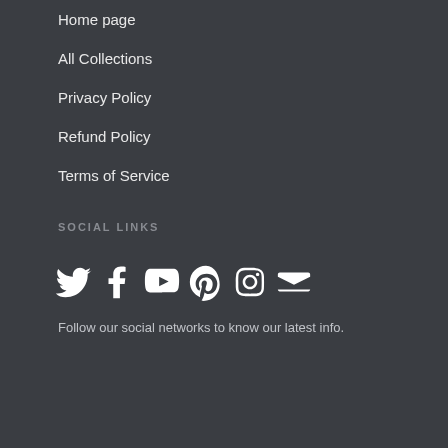Home page
All Collections
Privacy Policy
Refund Policy
Terms of Service
SOCIAL LINKS
[Figure (illustration): Social media icons: Twitter, Facebook, YouTube, Pinterest, Instagram, Email]
Follow our social networks to know our latest info.